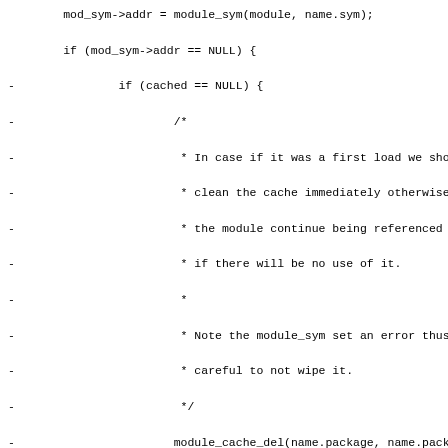Code diff showing module_sym->addr assignment, error handling block removal and replacement with module_unref, and hunk header @@ -403,12 +428,11 @@ module_sym_unload(struct module_sym *mod_sym)